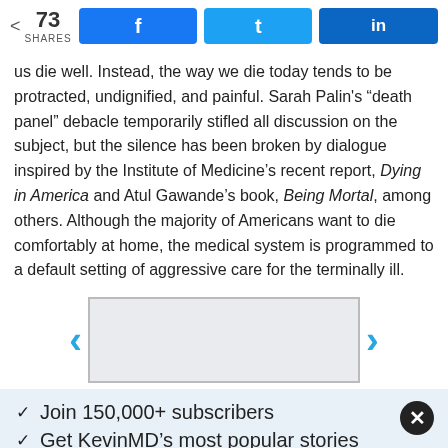73 SHARES  [Facebook share] [Twitter share] [LinkedIn share]
us die well. Instead, the way we die today tends to be protracted, undignified, and painful. Sarah Palin's “death panel” debacle temporarily stifled all discussion on the subject, but the silence has been broken by dialogue inspired by the Institute of Medicine’s recent report, Dying in America and Atul Gawande’s book, Being Mortal, among others. Although the majority of Americans want to die comfortably at home, the medical system is programmed to a default setting of aggressive care for the terminally ill.
[Figure (other): Navigation carousel with left and right arrow buttons and a light gray image placeholder box]
✓  Join 150,000+ subscribers
✓  Get KevinMD’s most popular stories
Email  Subscribe. It’s free.